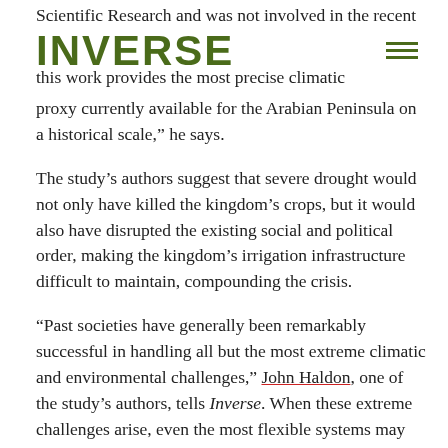Scientific Research and was not involved in the recent
[Figure (logo): INVERSE logo in bold dark green/olive uppercase letters]
this work provides the most precise climatic proxy currently available for the Arabian Peninsula on a historical scale,” he says.
The study’s authors suggest that severe drought would not only have killed the kingdom’s crops, but it would also have disrupted the existing social and political order, making the kingdom’s irrigation infrastructure difficult to maintain, compounding the crisis.
“Past societies have generally been remarkably successful in handling all but the most extreme climatic and environmental challenges,” John Haldon, one of the study’s authors, tells Inverse. When these extreme challenges arise, even the most flexible systems may collapse, he says. Haldon is a historian at Princeton